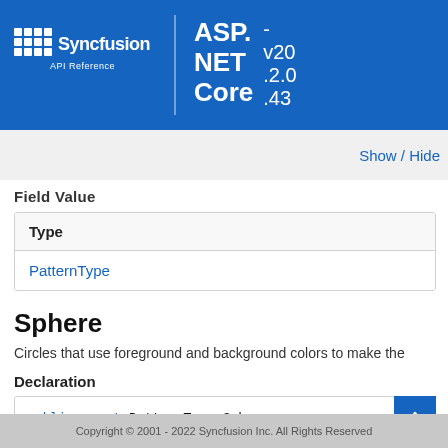Syncfusion API Reference — ASP.NET Core v20.2.0.43
Field Value
| Type |
| --- |
| PatternType |
Sphere
Circles that use foreground and background colors to make the
Declaration
Copyright © 2001 - 2022 Syncfusion Inc. All Rights Reserved